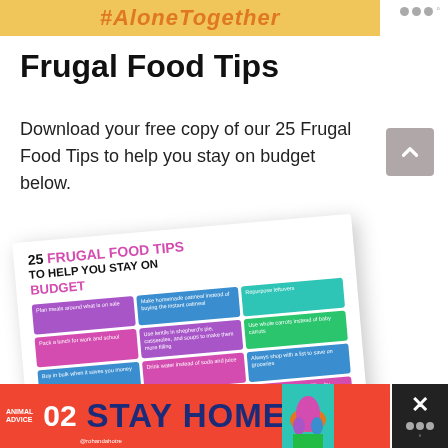#AloneTogether
Frugal Food Tips
Download your free copy of our 25 Frugal Food Tips to help you stay on budget below.
[Figure (infographic): Tilted infographic booklet titled '25 FRUGAL FOOD TIPS TO HELP YOU STAY ON BUDGET' with a colorful grid of tips in purple, pink, blue, teal, green, and yellow boxes]
ANIMAL ADVICE 02 STAY HOME @rohandahotre